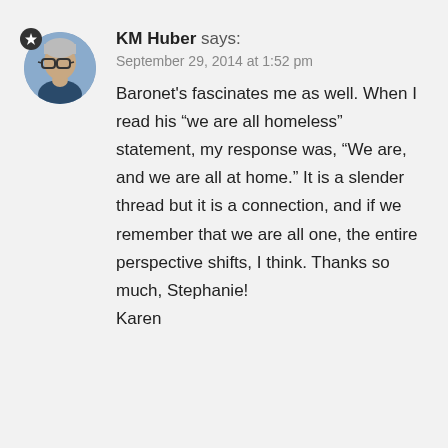[Figure (photo): Circular avatar photo of a person wearing glasses, with a dark star badge in the top-left corner of the avatar.]
KM Huber says:
September 29, 2014 at 1:52 pm
Bazonet's fascinates me as well. When I read his “we are all homeless” statement, my response was, “We are, and we are all at home.” It is a slender thread but it is a connection, and if we remember that we are all one, the entire perspective shifts, I think. Thanks so much, Stephanie!
Karen